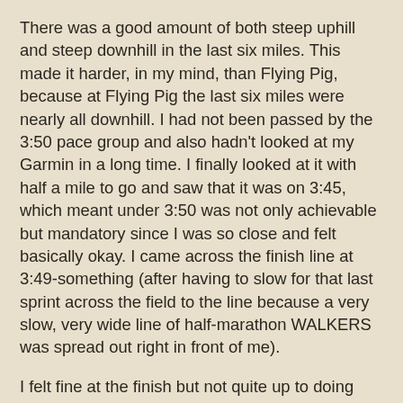There was a good amount of both steep uphill and steep downhill in the last six miles. This made it harder, in my mind, than Flying Pig, because at Flying Pig the last six miles were nearly all downhill. I had not been passed by the 3:50 pace group and also hadn't looked at my Garmin in a long time. I finally looked at it with half a mile to go and saw that it was on 3:45, which meant under 3:50 was not only achievable but mandatory since I was so close and felt basically okay. I came across the finish line at 3:49-something (after having to slow for that last sprint across the field to the line because a very slow, very wide line of half-marathon WALKERS was spread out right in front of me).
I felt fine at the finish but not quite up to doing justice to the great spread -- pizza, cookies, giant muffins, smoothies, all kinds of stuff. I had a banana and half a piece of pizza, which I chewed on until my stomach gave me the "Not This" message and then I spit it in the trash. Believe me, sitting on my deck writing this I would happily eat the whole freaking pizza right now, and may just do that later. I am very happy with my time. Ten minutes faster than at Flying Pig a month